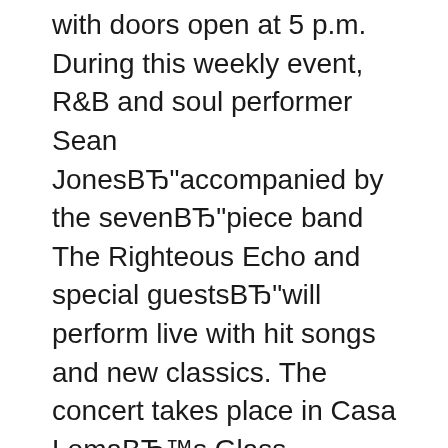with doors open at 5 p.m. During this weekly event, R&B and soul performer Sean JonesвЂ"accompanied by the sevenвЂ"piece band The Righteous Echo and special guestsвЂ"will perform live with hit songs and new classics. The concert takes place in Casa LomaвЂ™s Glass Pavilion, meaning audiences enjoy views of the city, stars, and estate gardens during the performance. 21/10/2017В В· Casa Loma's Legends of Horror was an overall cool experience. The castle was decorated so creatively with people in Halloween costumes walking around "scaring" you, making it perfect for pictures. However, it was my first time attending this event and last.